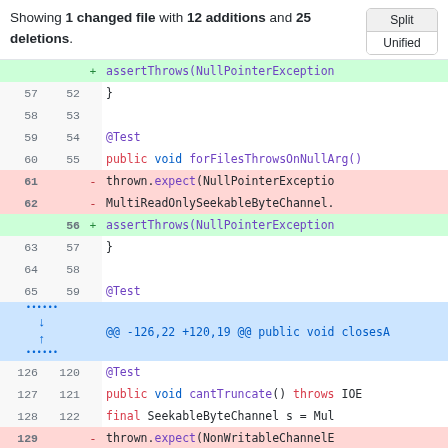Showing 1 changed file with 12 additions and 25 deletions.
[Figure (screenshot): Git diff view showing code changes with Split/Unified toggle buttons and colored diff lines for deletions (red) and additions (green)]
| old | new | sign | code |
| --- | --- | --- | --- |
|  |  |  | assertThrows(NullPointerException... |
| 57 | 52 |  | } |
| 58 | 53 |  |  |
| 59 | 54 |  | @Test |
| 60 | 55 |  | public void forFilesThrowsOnNullArg() |
| 61 |  | - | thrown.expect(NullPointerExceptio... |
| 62 |  | - | MultiReadOnlySeekableByteChannel.... |
|  | 56 | + | assertThrows(NullPointerException... |
| 63 | 57 |  | } |
| 64 | 58 |  |  |
| 65 | 59 |  | @Test |
|  |  |  | @@ -126,22 +120,19 @@ public void closesA... |
| 126 | 120 |  | @Test |
| 127 | 121 |  | public void cantTruncate() throws IOE... |
| 128 | 122 |  | final SeekableByteChannel s = Mul... |
| 129 |  | - | thrown.expect(NonWritableChannelE... |
| 130 |  | - | s.truncate(1); |
|  | 132 |  | assertThrows(NonWritableChannelE...15... |